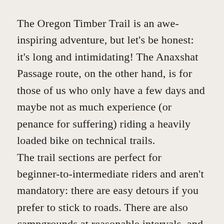The Oregon Timber Trail is an awe-inspiring adventure, but let's be honest: it's long and intimidating! The Anaxshat Passage route, on the other hand, is for those of us who only have a few days and maybe not as much experience (or penance for suffering) riding a heavily loaded bike on technical trails.
The trail sections are perfect for beginner-to-intermediate riders and aren't mandatory: there are easy detours if you prefer to stick to roads. There are also campgrounds at reasonable intervals, and water sources abound so you can plan to ride it over three, four, or five days. That being said, it's still a